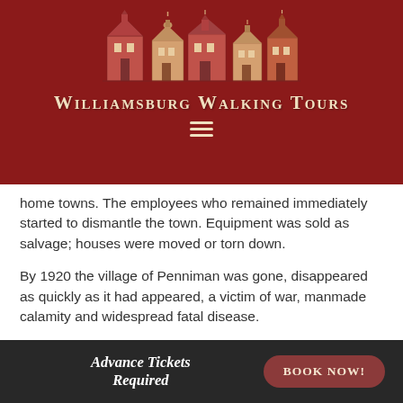[Figure (logo): Williamsburg Walking Tours logo with illustrated colonial buildings and text title on dark red background]
home towns. The employees who remained immediately started to dismantle the town. Equipment was sold as salvage; houses were moved or torn down.
By 1920 the village of Penniman was gone, disappeared as quickly as it had appeared, a victim of war, manmade calamity and widespread fatal disease.
Patricia Thomas, Williamsburg Walking Tours
Advance Tickets Required  BOOK NOW!